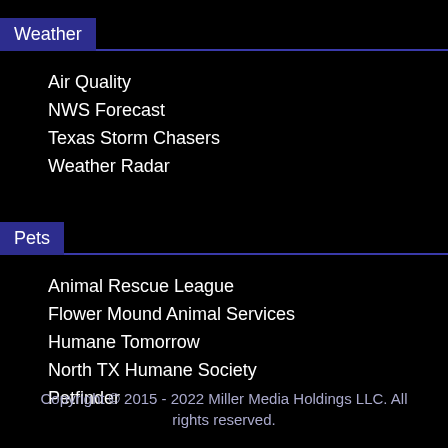Weather
Air Quality
NWS Forecast
Texas Storm Chasers
Weather Radar
Pets
Animal Rescue League
Flower Mound Animal Services
Humane Tomorrow
North TX Humane Society
Petfinder
Copyright © 2015 - 2022 Miller Media Holdings LLC. All rights reserved.